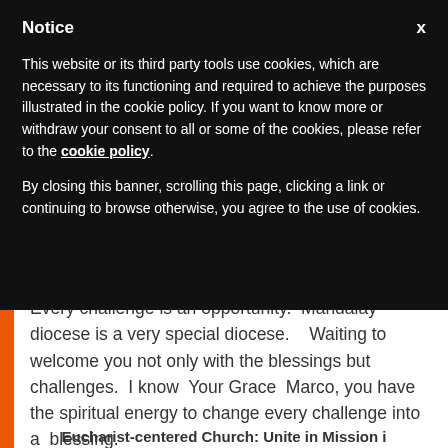Notice
This website or its third party tools use cookies, which are necessary to its functioning and required to achieve the purposes illustrated in the cookie policy. If you want to know more or withdraw your consent to all or some of the cookies, please refer to the cookie policy.
By closing this banner, scrolling this page, clicking a link or continuing to browse otherwise, you agree to the use of cookies.
Every challenge is an opportunity.  Mandalay diocese is a very special diocese.   Waiting to welcome you not only with the blessings but challenges.  I know  Your Grace  Marco, you have the spiritual energy to change every challenge into a  blessing.
Eucharist-centered Church: Unite in Mission i